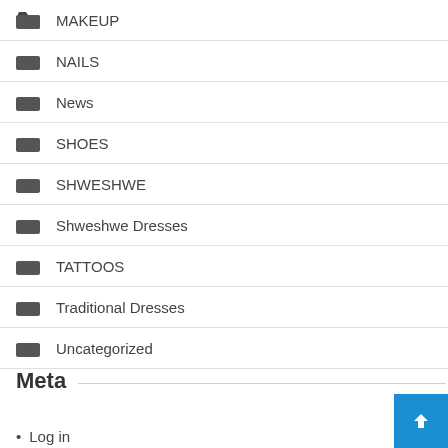MAKEUP
NAILS
News
SHOES
SHWESHWE
Shweshwe Dresses
TATTOOS
Traditional Dresses
Uncategorized
Meta
Log in